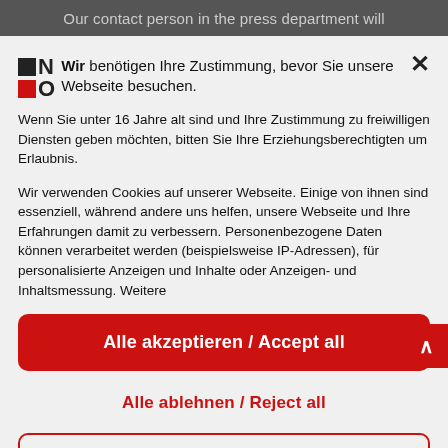Our contact person in the press department will
[Figure (logo): NOS logo with black square and N, red square and O]
Wir benötigen Ihre Zustimmung, bevor Sie unsere Webseite besuchen.
Wenn Sie unter 16 Jahre alt sind und Ihre Zustimmung zu freiwilligen Diensten geben möchten, bitten Sie Ihre Erziehungsberechtigten um Erlaubnis.
Wir verwenden Cookies auf unserer Webseite. Einige von ihnen sind essenziell, während andere uns helfen, unsere Webseite und Ihre Erfahrungen damit zu verbessern. Personenbezogene Daten können verarbeitet werden (beispielsweise IP-Adressen), für personalisierte Anzeigen und Inhalte oder Anzeigen- und Inhaltsmessung. Weitere
Alle akzeptieren / Accept all
Alle ablehnen / Reject all
Individuelle Einstellungen / Individual settings